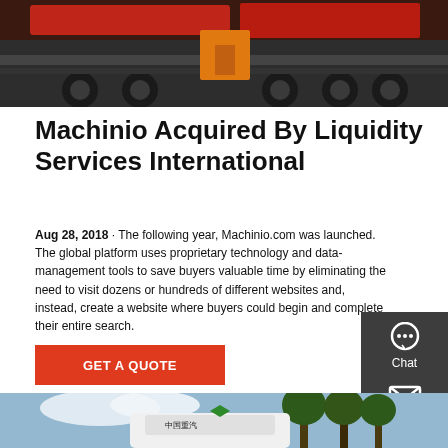[Figure (photo): Photo of red trucks/heavy equipment, top of page]
Machinio Acquired By Liquidity Services International
Aug 28, 2018 · The following year, Machinio.com was launched. The global platform uses proprietary technology and data-management tools to save buyers valuable time by eliminating the need to visit dozens or hundreds of different websites and, instead, create a website where buyers could begin and complete their entire search.
GET A QUOTE
[Figure (infographic): Sidebar with Chat, Email, Contact icons on dark background]
[Figure (photo): Photo of a white vehicle or bus with trees in background, bottom of page]